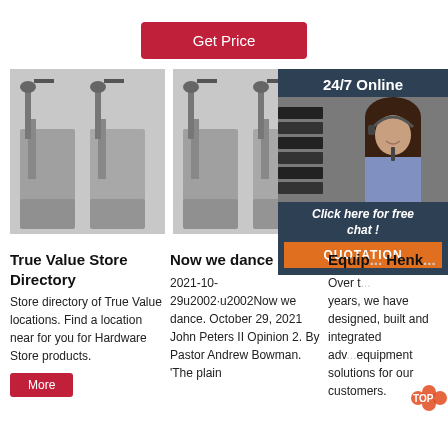Get Price
[Figure (photo): Two industrial machines (double head gluing/sealing machines), side by side, stainless steel construction]
[Figure (photo): Two more industrial machines identical to previous pair]
[Figure (photo): 24/7 Online support block with woman wearing headset and chat/quotation buttons]
True Value Store Directory
Store directory of True Value locations. Find a location near for you for Hardware Store products.
Now we dance
2021-10-29u2002·u2002Now we dance. October 29, 2021 John Peters II Opinion 2. By Pastor Andrew Bowman. 'The plain
Equip... Henk...
Over the past years, we have designed, built and integrated advanced equipment solutions for our customers.